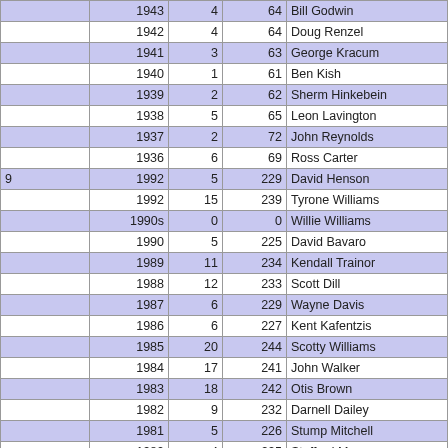|  | Year | Round | Pick | Player |
| --- | --- | --- | --- | --- |
|  | 1943 | 4 | 64 | Bill Godwin |
|  | 1942 | 4 | 64 | Doug Renzel |
|  | 1941 | 3 | 63 | George Kracum |
|  | 1940 | 1 | 61 | Ben Kish |
|  | 1939 | 2 | 62 | Sherm Hinkebein |
|  | 1938 | 5 | 65 | Leon Lavington |
|  | 1937 | 2 | 72 | John Reynolds |
|  | 1936 | 6 | 69 | Ross Carter |
| 9 | 1992 | 5 | 229 | David Henson |
|  | 1992 | 15 | 239 | Tyrone Williams |
|  | 1990s | 0 | 0 | Willie Williams |
|  | 1990 | 5 | 225 | David Bavaro |
|  | 1989 | 11 | 234 | Kendall Trainor |
|  | 1988 | 12 | 233 | Scott Dill |
|  | 1987 | 6 | 229 | Wayne Davis |
|  | 1986 | 6 | 227 | Kent Kafentzis |
|  | 1985 | 20 | 244 | Scotty Williams |
|  | 1984 | 17 | 241 | John Walker |
|  | 1983 | 18 | 242 | Otis Brown |
|  | 1982 | 9 | 232 | Darnell Dailey |
|  | 1981 | 5 | 226 | Stump Mitchell |
|  | 1980 | 4 | 225 | Stafford Mays |
|  | 1979 | 8 | 228 | Bob Rozier |
|  | 1978 | 13 | 235 | Joe Mosley |
|  | 1977 | 20 | 243 | Johnny Jackson |
|  | 1974 | 7 | 215 | Reggie Harrison |
|  | 1973 | 5 | 213 | Ken King |
|  | 1972 | 5 | 213 | Gene Macken |
|  | 1971 | 17 | 225 | Mike Savoy |
|  | 1970 | 6 | 214 | Paul White |